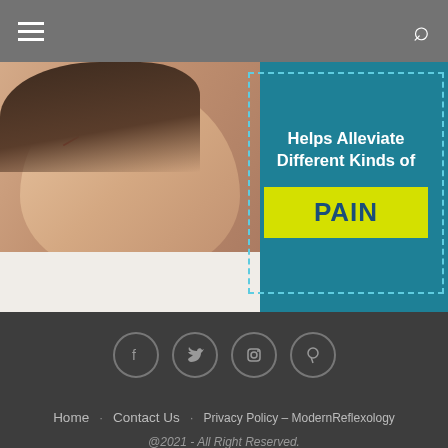Navigation header with hamburger menu and search icon
[Figure (photo): Banner image showing a woman lying down with acupuncture needles (reflexology treatment), with teal background and text overlay reading 'Helps Alleviate Different Kinds of PAIN']
[Figure (infographic): Four social media icons in circles: Facebook, Twitter, Instagram, Pinterest]
Home  Contact Us  Privacy Policy – ModernReflexology
@2021 - All Right Reserved.
BACK TO TOP